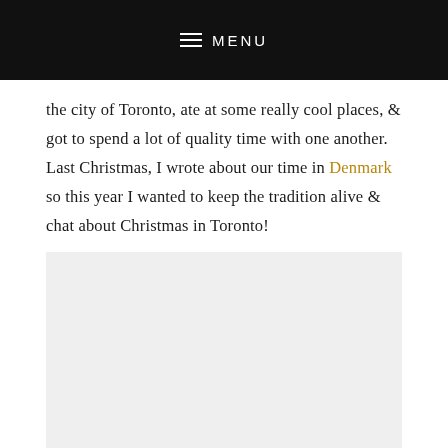MENU
the city of Toronto, ate at some really cool places, & got to spend a lot of quality time with one another. Last Christmas, I wrote about our time in Denmark so this year I wanted to keep the tradition alive & chat about Christmas in Toronto!
[Figure (photo): Light gray placeholder image block below the text content]